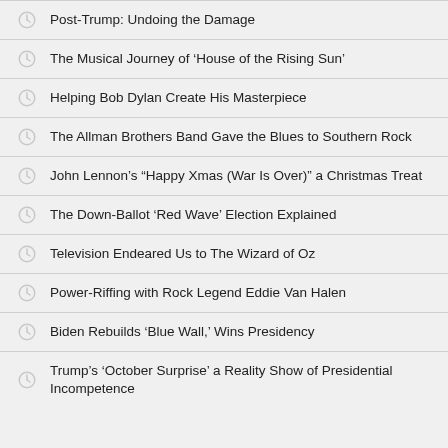Post-Trump: Undoing the Damage
The Musical Journey of 'House of the Rising Sun'
Helping Bob Dylan Create His Masterpiece
The Allman Brothers Band Gave the Blues to Southern Rock
John Lennon's “Happy Xmas (War Is Over)” a Christmas Treat
The Down-Ballot ‘Red Wave’ Election Explained
Television Endeared Us to The Wizard of Oz
Power-Riffing with Rock Legend Eddie Van Halen
Biden Rebuilds ‘Blue Wall,’ Wins Presidency
Trump’s ‘October Surprise’ a Reality Show of Presidential Incompetence